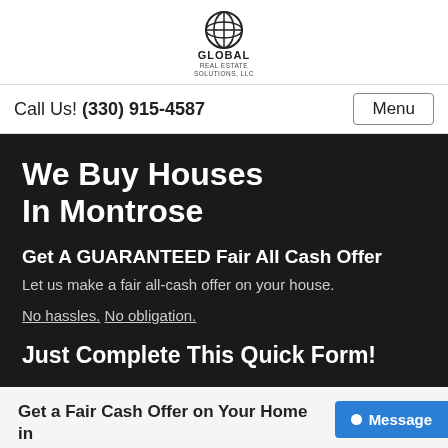[Figure (logo): Global Real Estate Solutions, LLC logo — globe icon above text GLOBAL REAL ESTATE SOLUTIONS, LLC]
Call Us! (330) 915-4587
Menu
We Buy Houses In Montrose
Get A GUARANTEED Fair All Cash Offer
Let us make a fair all-cash offer on your house.
No hassles. No obligation.
Just Complete This Quick Form!
Get a Fair Cash Offer on Your Home in Minutes...
Message